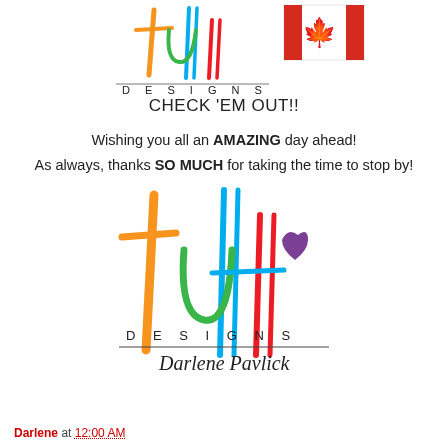[Figure (logo): Tutti Designs logo (small, top) with colorful brush-lettered text and Canadian flag icon]
CHECK 'EM OUT!!
Wishing you all an AMAZING day ahead!
As always, thanks SO MUCH for taking the time to stop by!
[Figure (logo): Tutti Designs logo (large) with colorful brush-lettered tutti text, DESIGNS text, and Darlene Pavlick signature]
Darlene at 12:00 AM